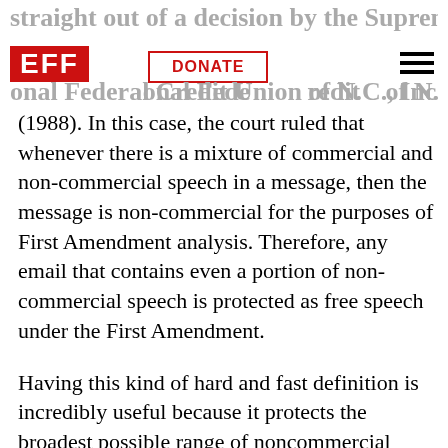straight out of a decision by the Supreme Court in Educational Federal Credit Union of N.C., Inc.
(1988). In this case, the court ruled that whenever there is a mixture of commercial and non-commercial speech in a message, then the message is non-commercial for the purposes of First Amendment analysis. Therefore, any email that contains even a portion of non-commercial speech is protected as free speech under the First Amendment.
Having this kind of hard and fast definition is incredibly useful because it protects the broadest possible range of noncommercial speech on the Internet.
It also prevents legitimate speakers from being dragged through expensive court cases on the